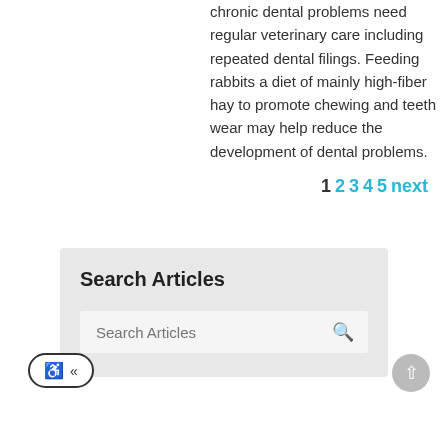chronic dental problems need regular veterinary care including repeated dental filings. Feeding rabbits a diet of mainly high-fiber hay to promote chewing and teeth wear may help reduce the development of dental problems.
1 2 3 4 5 next
Search Articles
Search Articles